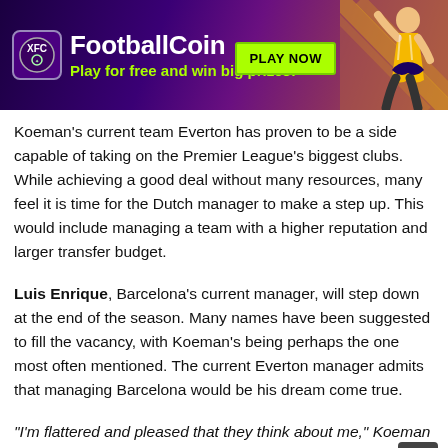[Figure (other): FootballCoin advertisement banner with logo, tagline 'Play for free and win big prizes!', a green PLAY NOW button, and a football player illustration on a purple/dark gradient background.]
Koeman's current team Everton has proven to be a side capable of taking on the Premier League's biggest clubs. While achieving a good deal without many resources, many feel it is time for the Dutch manager to make a step up. This would include managing a team with a higher reputation and larger transfer budget.
Luis Enrique, Barcelona's current manager, will step down at the end of the season. Many names have been suggested to fill the vacancy, with Koeman's being perhaps the one most often mentioned. The current Everton manager admits that managing Barcelona would be his dream come true.
“I’m flattered and pleased that they think about me,” Koeman told Sport.  “Everyone knows that I’m Barca, they know my